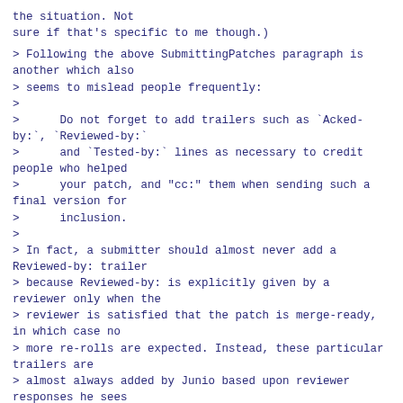the situation. Not
sure if that's specific to me though.)
> Following the above SubmittingPatches paragraph is another which also
> seems to mislead people frequently:
>
>      Do not forget to add trailers such as `Acked-by:`, `Reviewed-by:`
>      and `Tested-by:` lines as necessary to credit people who helped
>      your patch, and "cc:" them when sending such a final version for
>      inclusion.
>
> In fact, a submitter should almost never add a Reviewed-by: trailer
> because Reviewed-by: is explicitly given by a reviewer only when the
> reviewer is satisfied that the patch is merge-ready, in which case no
> more re-rolls are expected. Instead, these particular trailers are
> almost always added by Junio based upon reviewer responses he sees
> when picking up a patch.
I don't fully agree with that comment.
At least me personally if I see people acking v5, I add